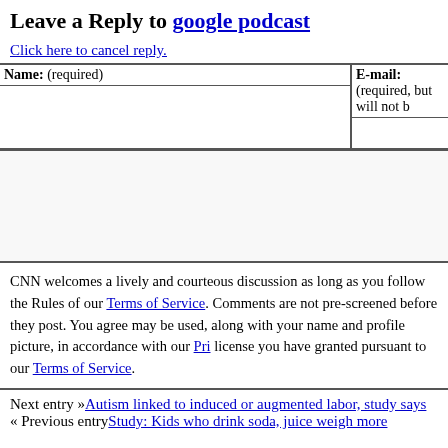Leave a Reply to google podcast
Click here to cancel reply.
| Name: (required) | E-mail: (required, but will not be published) |
| --- | --- |
|  |  |
CNN welcomes a lively and courteous discussion as long as you follow the Rules of Conduct set forth in our Terms of Service. Comments are not pre-screened before they post. You agree that anything you post may be used, along with your name and profile picture, in accordance with our Privacy Policy and the license you have granted pursuant to our Terms of Service.
Next entry »Autism linked to induced or augmented labor, study says
« Previous entryStudy: Kids who drink soda, juice weigh more